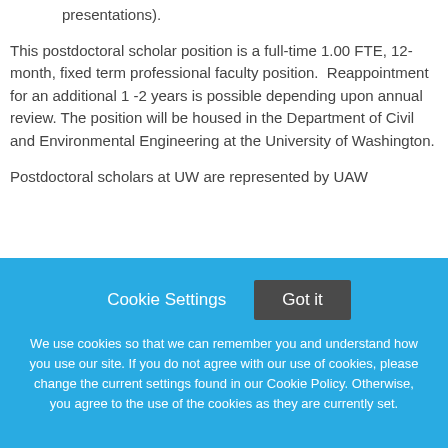presentations).
This postdoctoral scholar position is a full-time 1.00 FTE, 12-month, fixed term professional faculty position.  Reappointment for an additional 1 -2 years is possible depending upon annual review. The position will be housed in the Department of Civil and Environmental Engineering at the University of Washington.
Postdoctoral scholars at UW are represented by UAW
[Figure (screenshot): Cookie consent banner with blue background. Contains 'Cookie Settings' and 'Got it' buttons, and text: 'We use cookies so that we can remember you and understand how you use our site. If you do not agree with our use of cookies, please change the current settings found in our Cookie Policy. Otherwise, you agree to the use of the cookies as they are currently set.']